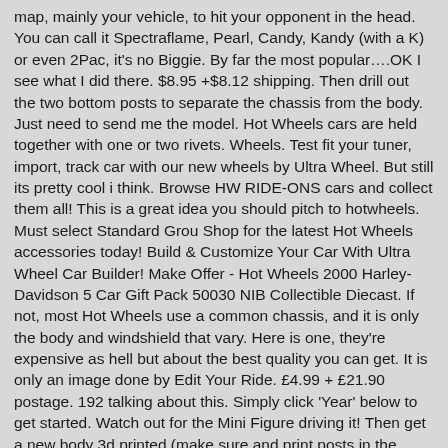map, mainly your vehicle, to hit your opponent in the head. You can call it Spectraflame, Pearl, Candy, Kandy (with a K) or even 2Pac, it's no Biggie. By far the most popular….OK I see what I did there. $8.95 +$8.12 shipping. Then drill out the two bottom posts to separate the chassis from the body. Just need to send me the model. Hot Wheels cars are held together with one or two rivets. Wheels. Test fit your tuner, import, track car with our new wheels by Ultra Wheel. But still its pretty cool i think. Browse HW RIDE-ONS cars and collect them all! This is a great idea you should pitch to hotwheels. Must select Standard Grou Shop for the latest Hot Wheels accessories today! Build & Customize Your Car With Ultra Wheel Car Builder! Make Offer - Hot Wheels 2000 Harley-Davidson 5 Car Gift Pack 50030 NIB Collectible Diecast. If not, most Hot Wheels use a common chassis, and it is only the body and windshield that vary. Here is one, they're expensive as hell but about the best quality you can get. It is only an image done by Edit Your Ride. £4.99 + £21.90 postage. 192 talking about this. Simply click 'Year' below to get started. Watch out for the Mini Figure driving it! Then get a new body 3d printed (make sure and print posts in the